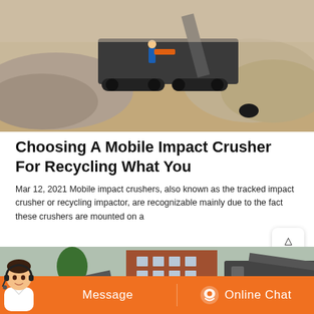[Figure (photo): Outdoor photo of a mobile impact crusher / tracked crusher machine operating on a gravel/sand construction site with large piles of crushed stone and a worker in the background]
Choosing A Mobile Impact Crusher For Recycling What You
Mar 12, 2021 Mobile impact crushers, also known as the tracked impact crusher or recycling impactor, are recognizable mainly due to the fact these crushers are mounted on a
[Figure (photo): Outdoor industrial photo of a mobile crushing/screening plant with conveyor belts near a multi-story brick building, with trees visible in the background]